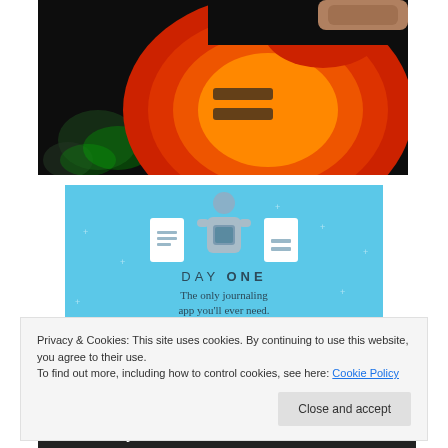[Figure (photo): Close-up photo of a red/orange electric guitar (Gibson-style) being held at a dark concert venue, with colorful stage lighting in the background.]
[Figure (illustration): Day One journaling app advertisement banner on a light blue background showing a person holding a phone with two document icons on either side. Text reads 'DAY ONE' and 'The only journaling app you'll ever need.']
Privacy & Cookies: This site uses cookies. By continuing to use this website, you agree to their use.
To find out more, including how to control cookies, see here: Cookie Policy
Close and accept
Chris Dorney